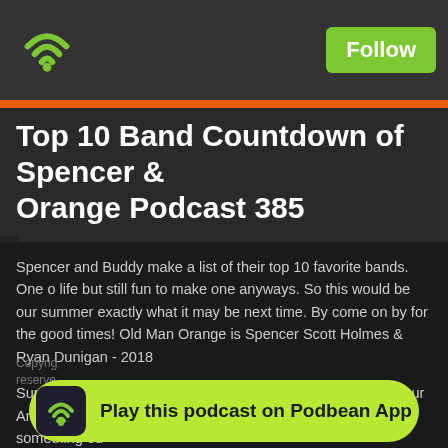[Figure (logo): Podbean wifi/radio logo in green on dark header bar]
Follow
Top 10 Band Countdown of Spencer & Orange Podcast 385
Spencer and Buddy make a list of their top 10 favorite bands. One of life but still fun to make one anyways. So this would be our summer exactly what it may be next time. By come on by for the good times! Old Man Orange is Spencer Scott Holmes & Ryan Dunigan - 2018
Support the Show the easy and simple way, by using one of our Ama purchases. Doesn't cost you a penny but sends a little something ou
Grab some comics with:
Copyrig reserved
[Figure (logo): Podbean app play button banner with green background and wifi icon]